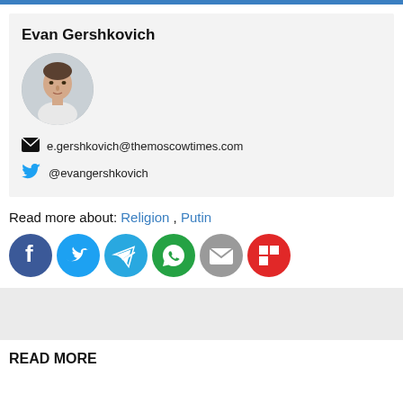Evan Gershkovich
[Figure (photo): Circular profile photo of Evan Gershkovich]
e.gershkovich@themoscowtimes.com
@evangershkovich
Read more about: Religion , Putin
[Figure (infographic): Social sharing icons: Facebook, Twitter, Telegram, WhatsApp, Email, Flipboard]
READ MORE